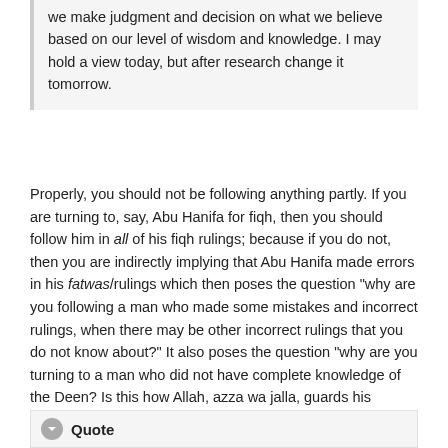we make judgment and decision on what we believe based on our level of wisdom and knowledge. I may hold a view today, but after research change it tomorrow.
Properly, you should not be following anything partly. If you are turning to, say, Abu Hanifa for fiqh, then you should follow him in all of his fiqh rulings; because if you do not, then you are indirectly implying that Abu Hanifa made errors in his fatwas/rulings which then poses the question "why are you following a man who made some mistakes and incorrect rulings, when there may be other incorrect rulings that you do not know about?" It also poses the question "why are you turning to a man who did not have complete knowledge of the Deen? Is this how Allah, azza wa jalla, guards his religion?" If a person starts saying that one ruling of Abu Hanifa is correct, and another ruling of Abu Hanifa is incorrect, then you might as well not be following him; in-fact, are you really following him. Why? Because you're rederiving the rulings based on a process of evidence (or reasoning), which means you're putting yourself in Abu Hanifa's position or as a rival to him.
Quote